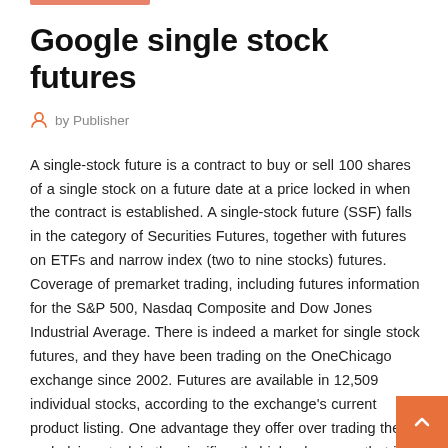Google single stock futures
by Publisher
A single-stock future is a contract to buy or sell 100 shares of a single stock on a future date at a price locked in when the contract is established. A single-stock future (SSF) falls in the category of Securities Futures, together with futures on ETFs and narrow index (two to nine stocks) futures. Coverage of premarket trading, including futures information for the S&P 500, Nasdaq Composite and Dow Jones Industrial Average. There is indeed a market for single stock futures, and they have been trading on the OneChicago exchange since 2002. Futures are available in 12,509 individual stocks, according to the exchange's current product listing. One advantage they offer over trading the underlying stock is the significantly higher leverage that is available, combined with the lack of pattern day trader rules that regular stock traders are subject to.